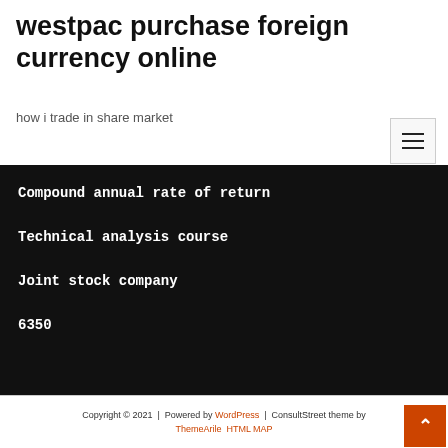westpac purchase foreign currency online
how i trade in share market
Compound annual rate of return
Technical analysis course
Joint stock company
6350
Copyright © 2021 | Powered by WordPress | ConsultStreet theme by ThemeArile HTML MAP